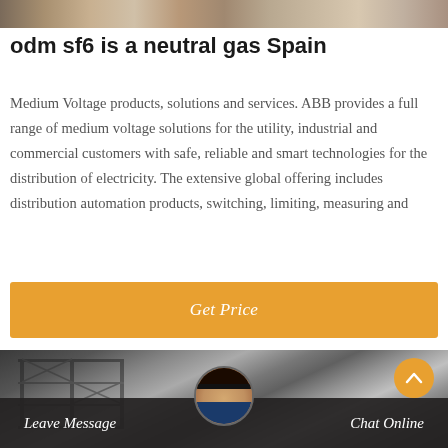[Figure (photo): Top banner photo showing blurred outdoor scene, appears to be construction or industrial setting]
odm sf6 is a neutral gas Spain
Medium Voltage products, solutions and services. ABB provides a full range of medium voltage solutions for the utility, industrial and commercial customers with safe, reliable and smart technologies for the distribution of electricity. The extensive global offering includes distribution automation products, switching, limiting, measuring and
[Figure (other): Orange 'Get Price' call-to-action button]
[Figure (photo): Bottom photo showing blurred industrial/construction scene with scaffolding tower, with a chat support overlay showing agent avatar, 'Leave Message' and 'Chat Online' options, and an orange back-to-top arrow button]